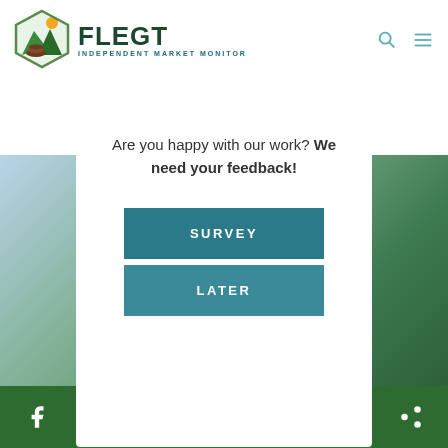FLEGT INDEPENDENT MARKET MONITOR
Are you happy with our work? We need your feedback!
SURVEY
LATER
Copyright © 2022 FLEGT IMM